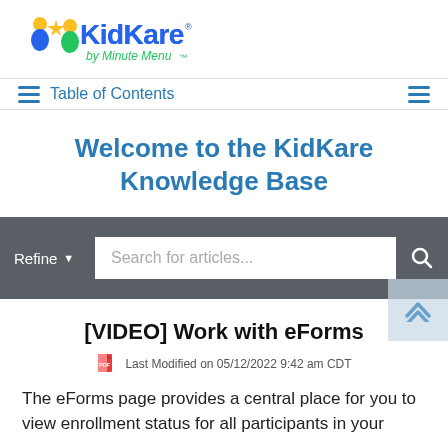[Figure (logo): KidKare by Minute Menu logo with cartoon children figures in yellow and blue]
Table of Contents
Welcome to the KidKare Knowledge Base
[Figure (screenshot): Search bar with Refine dropdown and Search for articles... placeholder input, and magnifying glass icon]
[VIDEO] Work with eForms
Last Modified on 05/12/2022 9:42 am CDT
The eForms page provides a central place for you to view enrollment status for all participants in your